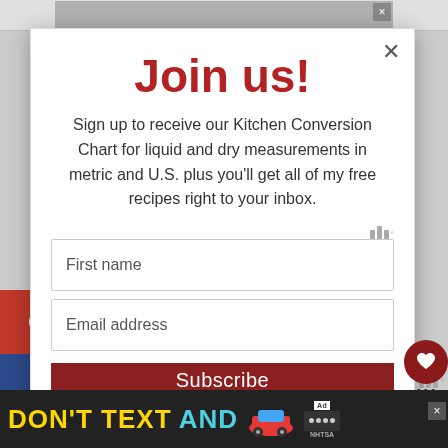[Figure (screenshot): Top advertisement banner with partial images of people and a close X button]
[Figure (screenshot): Social media sharing sidebar with Pinterest, Facebook, Twitter, and Yummly buttons]
Join us!
Sign up to receive our Kitchen Conversion Chart for liquid and dry measurements in metric and U.S. plus you'll get all of my free recipes right to your inbox.
First name
Email address
Subscribe
[Figure (screenshot): Heart favorite button with count 111 and share button on right side]
[Figure (screenshot): Bottom DON'T TEXT AND advertisement banner with car image and NHTSA badge]